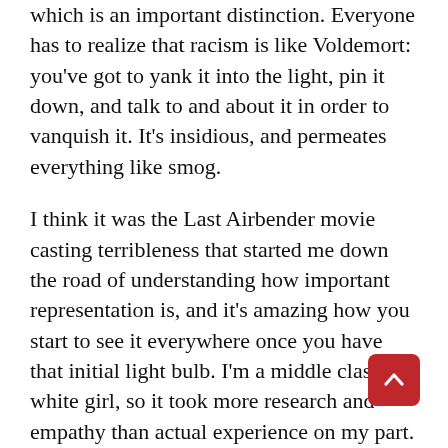which is an important distinction. Everyone has to realize that racism is like Voldemort: you've got to yank it into the light, pin it down, and talk to and about it in order to vanquish it. It's insidious, and permeates everything like smog.
I think it was the Last Airbender movie casting terribleness that started me down the road of understanding how important representation is, and it's amazing how you start to see it everywhere once you have that initial light bulb. I'm a middle class white girl, so it took more research and empathy than actual experience on my part. MedievalPoC has been an awesome resource, and I'm excited to hear about the harmonious meeting of the minds that will surely occur when you guys get together!